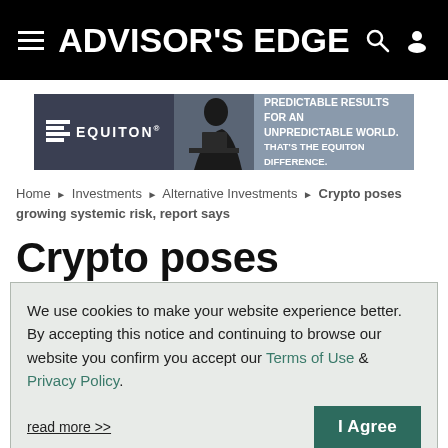ADVISOR'S EDGE
[Figure (infographic): Equiton advertisement banner: logo on dark background with silhouette of person at desk, text reads 'PREDICTABLE RESULTS FOR AN UNPREDICTABLE WORLD. THAT'S THE EQUITON DIFFERENCE.']
Home ▶ Investments ▶ Alternative Investments ▶ Crypto poses growing systemic risk, report says
Crypto poses growing
We use cookies to make your website experience better. By accepting this notice and continuing to browse our website you confirm you accept our Terms of Use & Privacy Policy.

read more >>     I Agree